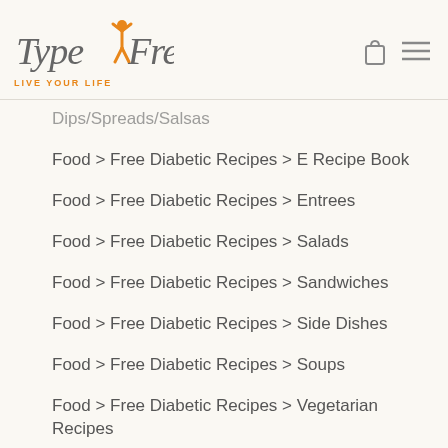TypeFree LIVE YOUR LIFE
Dips/Spreads/Salsas
Food > Free Diabetic Recipes > E Recipe Book
Food > Free Diabetic Recipes > Entrees
Food > Free Diabetic Recipes > Salads
Food > Free Diabetic Recipes > Sandwiches
Food > Free Diabetic Recipes > Side Dishes
Food > Free Diabetic Recipes > Soups
Food > Free Diabetic Recipes > Vegetarian Recipes
Food for Type 2 Diabetes
Food Portion Size